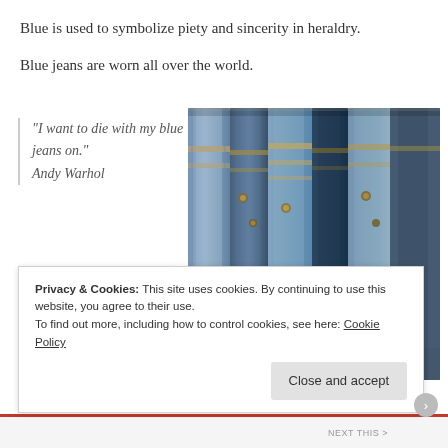Blue is used to symbolize piety and sincerity in heraldry.
Blue jeans are worn all over the world.
“I want to die with my blue jeans on.” Andy Warhol
[Figure (photo): Multiple pairs of blue jeans hanging on a rack, close-up view showing denim fabric textures and waistbands]
Privacy & Cookies: This site uses cookies. By continuing to use this website, you agree to their use. To find out more, including how to control cookies, see here: Cookie Policy
Close and accept